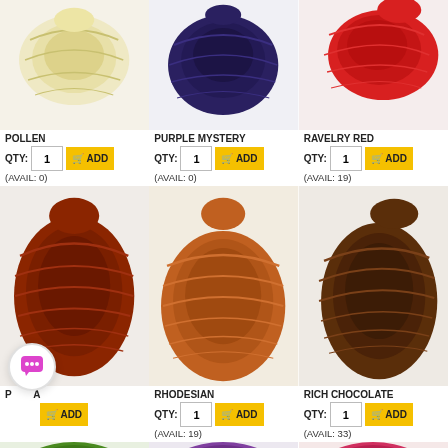[Figure (photo): Skein of yellow/cream yarn (Pollen)]
POLLEN
QTY: 1  ADD
(AVAIL: 0)
[Figure (photo): Skein of navy/purple yarn (Purple Mystery)]
PURPLE MYSTERY
QTY: 1  ADD
(AVAIL: 0)
[Figure (photo): Skein of red yarn (Ravelry Red)]
RAVELRY RED
QTY: 1  ADD
(AVAIL: 19)
[Figure (photo): Skein of dark rust/red yarn (Paprika)]
PAPRIKA (partial, obscured by chat icon)
QTY:  ADD
[Figure (photo): Skein of orange-brown yarn (Rhodesian)]
RHODESIAN
QTY: 1  ADD
(AVAIL: 19)
[Figure (photo): Skein of dark brown yarn (Rich Chocolate)]
RICH CHOCOLATE
QTY: 1  ADD
(AVAIL: 33)
[Figure (photo): Bottom partial row: green yarn, another yarn, red/pink yarn]